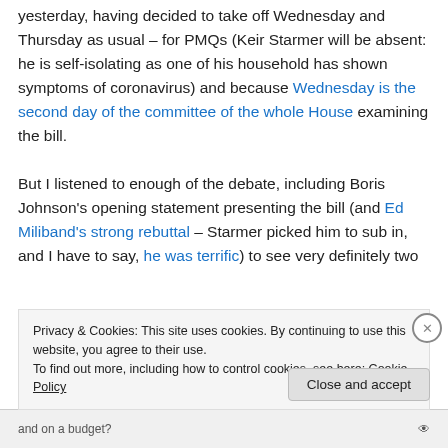yesterday, having decided to take off Wednesday and Thursday as usual – for PMQs (Keir Starmer will be absent: he is self-isolating as one of his household has shown symptoms of coronavirus) and because Wednesday is the second day of the committee of the whole House examining the bill.

But I listened to enough of the debate, including Boris Johnson's opening statement presenting the bill (and Ed Miliband's strong rebuttal – Starmer picked him to sub in, and I have to say, he was terrific) to see very definitely two
Privacy & Cookies: This site uses cookies. By continuing to use this website, you agree to their use.
To find out more, including how to control cookies, see here: Cookie Policy
and on a budget?